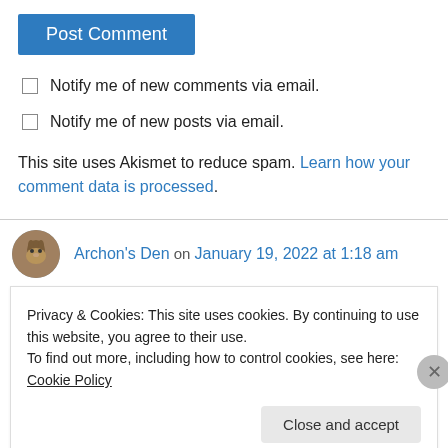[Figure (other): Blue 'Post Comment' button]
Notify me of new comments via email.
Notify me of new posts via email.
This site uses Akismet to reduce spam. Learn how your comment data is processed.
Archon's Den on January 19, 2022 at 1:18 am
Privacy & Cookies: This site uses cookies. By continuing to use this website, you agree to their use.
To find out more, including how to control cookies, see here: Cookie Policy